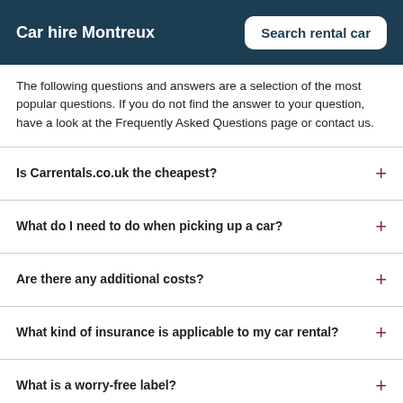Car hire Montreux
The following questions and answers are a selection of the most popular questions. If you do not find the answer to your question, have a look at the Frequently Asked Questions page or contact us.
Is Carrentals.co.uk the cheapest?
What do I need to do when picking up a car?
Are there any additional costs?
What kind of insurance is applicable to my car rental?
What is a worry-free label?